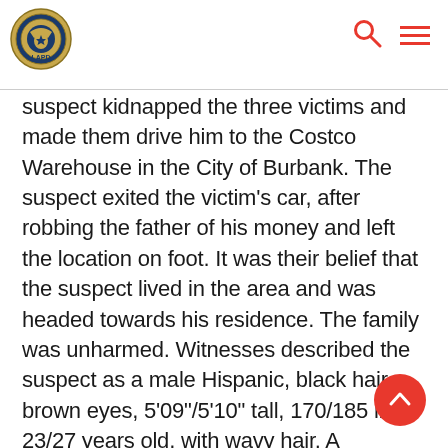LAPD logo, search icon, menu icon
suspect kidnapped the three victims and made them drive him to the Costco Warehouse in the City of Burbank. The suspect exited the victim's car, after robbing the father of his money and left the location on foot. It was their belief that the suspect lived in the area and was headed towards his residence. The family was unharmed. Witnesses described the suspect as a male Hispanic, black hair, brown eyes, 5'09"/5'10" tall, 170/185 lbs., 23/27 years old, with wavy hair. A composite drawing of the suspect is available via e-mail through Media Relations Section. Anyone with information is requested to co... North Hollywood Area Detectives J. Rodriguez or M. Rinner, at 818 623 4045. On weekends and